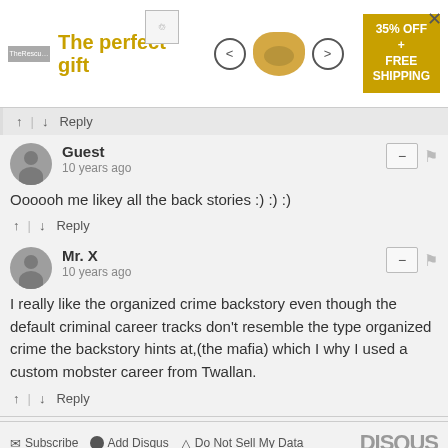[Figure (screenshot): Advertisement banner: The perfect gift, showing a bowl and 35% OFF + FREE SHIPPING with navigation arrows]
↑ | ↓  Reply
Guest
10 years ago
Oooooh me likey all the back stories :) :) :)
↑ | ↓  Reply
Mr. X
10 years ago
I really like the organized crime backstory even though the default criminal career tracks don't resemble the type organized crime the backstory hints at,(the mafia) which I why I used a custom mobster career from Twallan.
↑ | ↓  Reply
Subscribe  Add Disqus  Do Not Sell My Data  DISQUS
LATEST NEWS